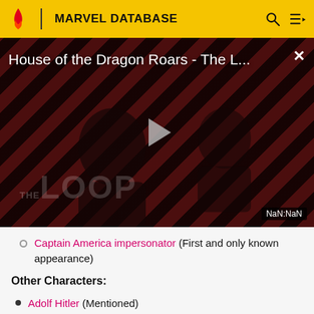MARVEL DATABASE
[Figure (screenshot): Video thumbnail for 'House of the Dragon Roars - The L...' with diagonal red and dark stripes background, two silhouetted figures, a play button in the center, 'THE LOOP' text watermark, and a NaN:NaN time display in the bottom right corner.]
Captain America impersonator (First and only known appearance)
Other Characters:
Adolf Hitler (Mentioned)